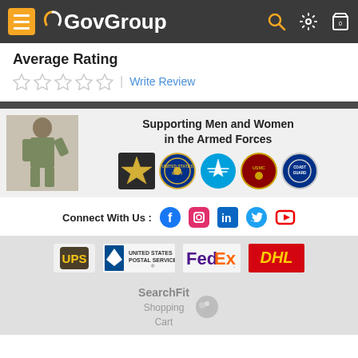GovGroup navigation header with hamburger menu, logo, search, settings, and cart icons
Average Rating
☆ ☆ ☆ ☆ ☆ | Write Review
[Figure (infographic): Supporting Men and Women in the Armed Forces banner with soldier saluting and military branch logos (Army, Navy, Air Force, Marines, Coast Guard)]
Connect With Us : [Facebook] [Instagram] [LinkedIn] [Twitter] [YouTube]
[Figure (logo): Shipping carrier logos: UPS, United States Postal Service, FedEx, DHL]
SearchFit Shopping Cart